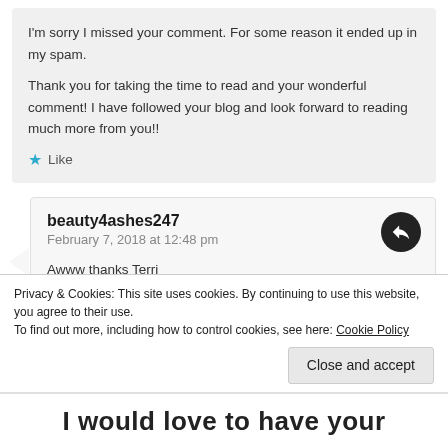I'm sorry I missed your comment. For some reason it ended up in my spam.

Thank you for taking the time to read and your wonderful comment! I have followed your blog and look forward to reading much more from you!!
Like
beauty4ashes247
February 7, 2018 at 12:48 pm
Awww thanks Terri
Liked by 1 person
Privacy & Cookies: This site uses cookies. By continuing to use this website, you agree to their use.
To find out more, including how to control cookies, see here: Cookie Policy
Close and accept
I would love to have your